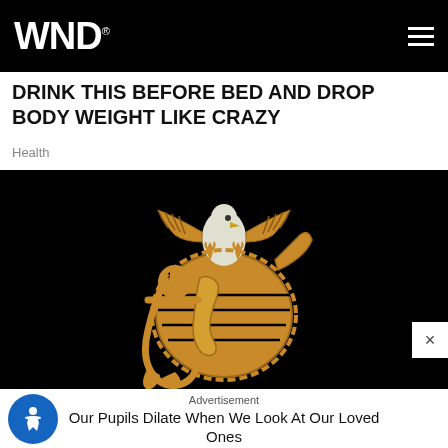WND
DRINK THIS BEFORE BED AND DROP BODY WEIGHT LIKE CRAZY
Health
[Figure (illustration): US Marine Corps Eagle Globe and Anchor emblem in gold/orange on black background]
Advertisement
Our Pupils Dilate When We Look At Our Loved Ones